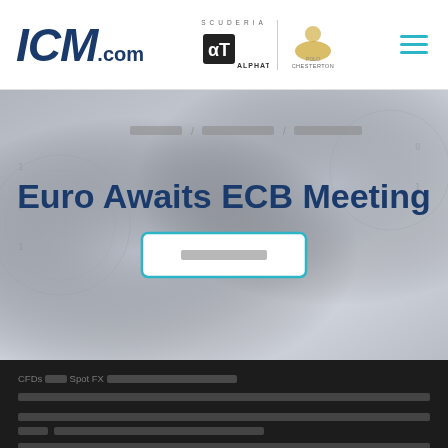ICM.com | AlphaTauri | Chesterton Polo — navigation header with hamburger menu
[Figure (screenshot): Hero banner with dark background showing gears/technology. Contains breadcrumb navigation, bold navy title 'Euro Awaits ECB Meeting', and a teal-bordered button with placeholder text.]
Euro Awaits ECB Meeting
Euro Awaits ECB Meeting
CFDs and Spot FX — disclaimer text about trading risk in non-Latin characters, with a 'more info' link in teal.